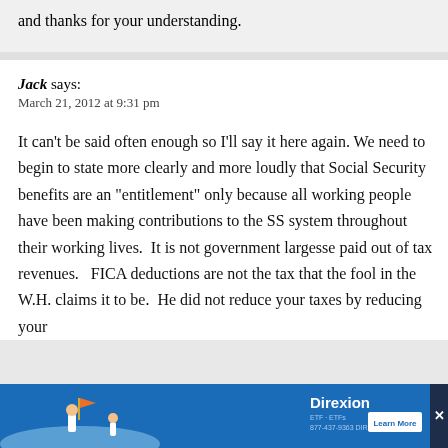and thanks for your understanding.
Jack says:
March 21, 2012 at 9:31 pm
It can’t be said often enough so I’ll say it here again. We need to begin to state more clearly and more loudly that Social Security benefits are an “entitlement” only because all working people have been making contributions to the SS system throughout their working lives.  It is not government largesse paid out of tax revenues.   FICA deductions are not the tax that the fool in the W.H. claims it to be.  He did not reduce your taxes by reducing your
[Figure (other): Direxion advertisement banner with blue background, illustrated figures, brand name and Learn More button]